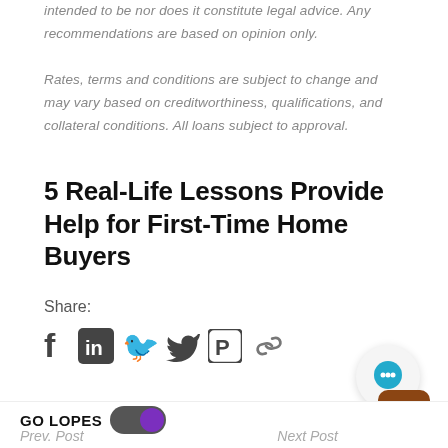intended to be nor does it constitute legal advice. Any recommendations are based on opinion only.

Rates, terms and conditions are subject to change and may vary based on creditworthiness, qualifications, and collateral conditions. All loans subject to approval.
5 Real-Life Lessons Provide Help for First-Time Home Buyers
Share:
[Figure (infographic): Social media share icons: Facebook, LinkedIn, Twitter, Pinterest, and a link/copy icon]
[Figure (infographic): Chat bubble icon in circular button (teal/cyan)]
[Figure (infographic): Hamburger menu button with brown/orange rounded square background]
GO LOPES  Prev. Post    Next Post